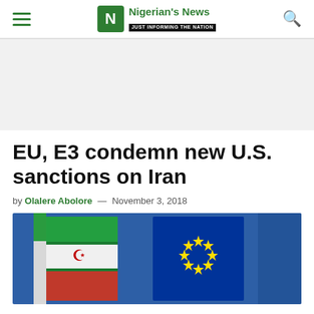Nigerian's News — JUST INFORMING THE NATION
[Figure (photo): Gray advertisement banner area]
EU, E3 condemn new U.S. sanctions on Iran
by Olalere Abolore — November 3, 2018
[Figure (photo): Photo of Iranian flag and EU flag side by side against a blue background]